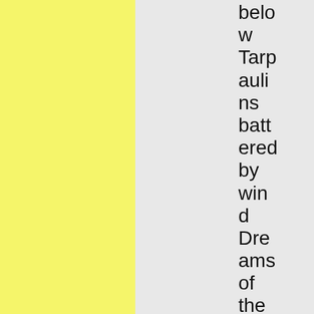below Tarpaulins battered by wind Dreams of the barrow

Bird has months of light